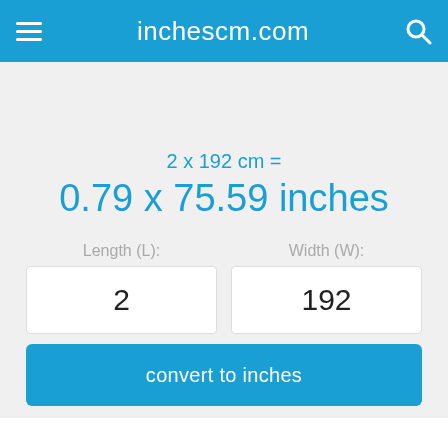inchescm.com
2 x 192 cm =
0.79 x 75.59 inches
Length (L):
Width (W):
2
192
convert to inches